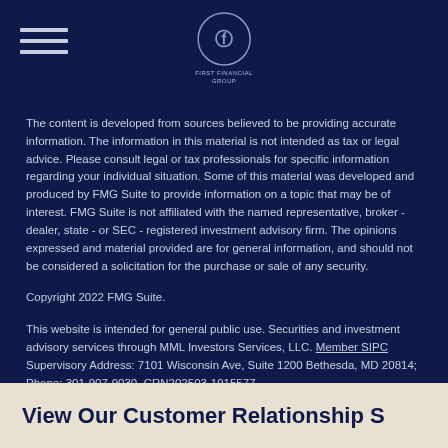First Financial Group logo and navigation
The content is developed from sources believed to be providing accurate information. The information in this material is not intended as tax or legal advice. Please consult legal or tax professionals for specific information regarding your individual situation. Some of this material was developed and produced by FMG Suite to provide information on a topic that may be of interest. FMG Suite is not affiliated with the named representative, broker - dealer, state - or SEC - registered investment advisory firm. The opinions expressed and material provided are for general information, and should not be considered a solicitation for the purchase or sale of any security.
Copyright 2022 FMG Suite.
This website is intended for general public use. Securities and investment advisory services through MML Investors Services, LLC. Member SIPC Supervisory Address: 7101 Wisconsin Ave, Suite 1200 Bethesda, MD 20814; Phone: 301-907-9030. CRN202503-1915577.
View Our Customer Relationship S